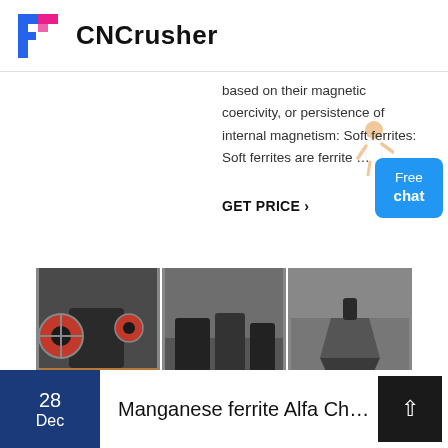CNCrusher
based on their magnetic coercivity, or persistence of internal magnetism: Soft ferrites: Soft ferrites are ferrite …
GET PRICE ›
[Figure (photo): Three industrial crushing machines in a factory setting, shown side by side]
28 Dec  Manganese ferrite Alfa Chemist